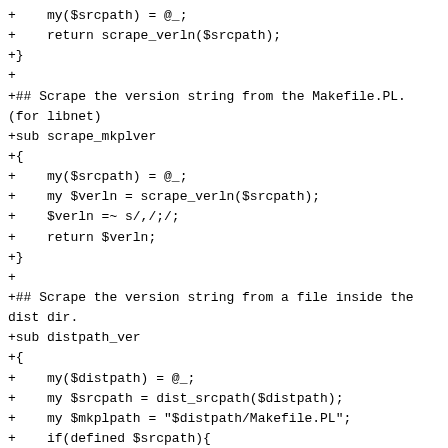+    my($srcpath) = @_;
+    return scrape_verln($srcpath);
+}
+
+## Scrape the version string from the Makefile.PL.
(for libnet)
+sub scrape_mkplver
+{
+    my($srcpath) = @_;
+    my $verln = scrape_verln($srcpath);
+    $verln =~ s/,/;/;
+    return $verln;
+}
+
+## Scrape the version string from a file inside the
dist dir.
+sub distpath_ver
+{
+    my($distpath) = @_;
+    my $srcpath = dist_srcpath($distpath);
+    my $mkplpath = "$distpath/Makefile.PL";
+    if(defined $srcpath){
+         return scrape_modver($srcpath);
+    }elsif(-f $mkplpath){
+         return scrape_mkplver($mkplpath);
+    }else{
+         err("failed to scrape version from
$distpath");
+    }
+}
+